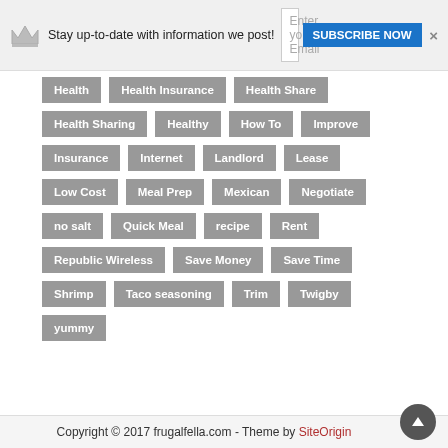[Figure (screenshot): Newsletter subscription banner with crown icon, email input field, Subscribe Now button, and close X]
Health
Health Insurance
Health Share
Health Sharing
Healthy
How To
Improve
Insurance
Internet
Landlord
Lease
Low Cost
Meal Prep
Mexican
Negotiate
no salt
Quick Meal
recipe
Rent
Republic Wireless
Save Money
Save Time
Shrimp
Taco seasoning
Trim
Twigby
yummy
Copyright © 2017 frugalfella.com - Theme by SiteOrigin